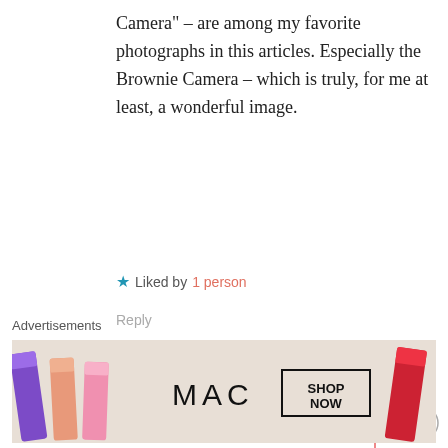Camera" – are among my favorite photographs in this articles. Especially the Brownie Camera – which is truly, for me at least, a wonderful image.
★ Liked by 1 person
Reply
[Figure (photo): User avatar showing a silhouette/person icon with glare]
Ritchie Roesch · September 12
Thanks so much! The first recipe is more Portra-inspired, the second more Superia-inspired. I appreciate the
Advertisements
[Figure (photo): MAC Cosmetics advertisement banner showing lipsticks in purple, peach, pink, and red colors with MAC wordmark and SHOP NOW button]